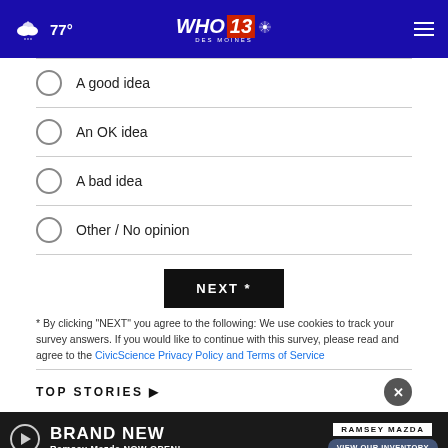WHO 13 Des Moines — 77°
A good idea
An OK idea
A bad idea
Other / No opinion
NEXT *
* By clicking "NEXT" you agree to the following: We use cookies to track your survey answers. If you would like to continue with this survey, please read and agree to the CivicScience Privacy Policy and Terms of Service
TOP STORIES ▶
[Figure (screenshot): Advertisement banner: BRAND NEW Ramsey Mazda NOW OPEN! with VIEW OUR INVENTORY button]